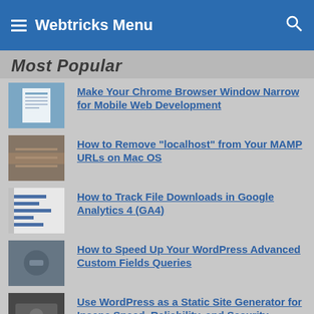Webtricks Menu
Most Popular
Make Your Chrome Browser Window Narrow for Mobile Web Development
How to Remove "localhost" from Your MAMP URLs on Mac OS
How to Track File Downloads in Google Analytics 4 (GA4)
How to Speed Up Your WordPress Advanced Custom Fields Queries
Use WordPress as a Static Site Generator for Insane Speed, Reliability, and Security